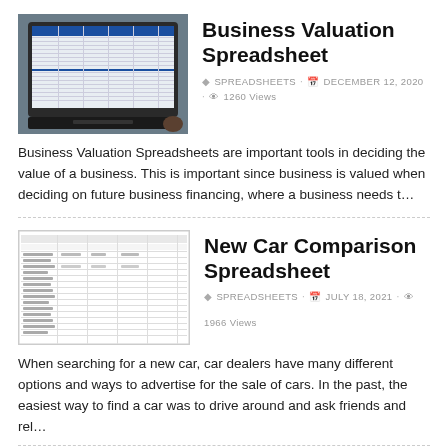[Figure (screenshot): Laptop showing a business valuation spreadsheet on screen]
Business Valuation Spreadsheet
SPREADSHEETS · DECEMBER 12, 2020 · 1260 Views
Business Valuation Spreadsheets are important tools in deciding the value of a business. This is important since business is valued when deciding on future business financing, where a business needs t...
[Figure (screenshot): New car comparison spreadsheet document preview]
New Car Comparison Spreadsheet
SPREADSHEETS · JULY 18, 2021 · 1966 Views
When searching for a new car, car dealers have many different options and ways to advertise for the sale of cars. In the past, the easiest way to find a car was to drive around and ask friends and rel...